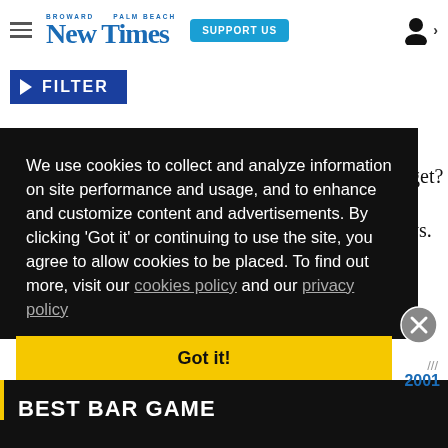Broward Palm Beach New Times — SUPPORT US
▶ FILTER
We use cookies to collect and analyze information on site performance and usage, and to enhance and customize content and advertisements. By clicking 'Got it' or continuing to use the site, you agree to allow cookies to be placed. To find out more, visit our cookies policy and our privacy policy
Got it!
/// 2001
BEST BAR GAME